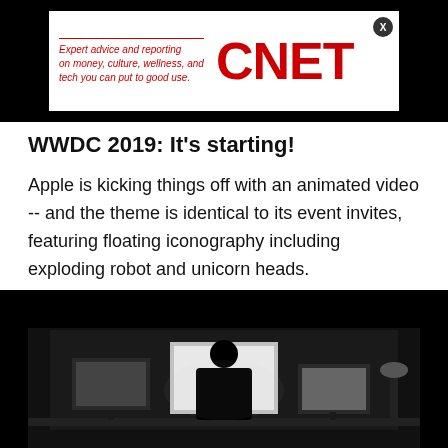[Figure (other): CNET advertisement banner with italic red text 'Expert advice and reporting on money, culture, wellness, and tech you can put to good use.' and large red CNET logo on white background, on black banner. Close button (X) in top right.]
WWDC 2019: It's starting!
Apple is kicking things off with an animated video -- and the theme is identical to its event invites, featuring floating iconography including exploding robot and unicorn heads.
[Figure (photo): Dark/black-and-white photo of a person silhouetted in front of multiple computer monitors in a dimly lit room]